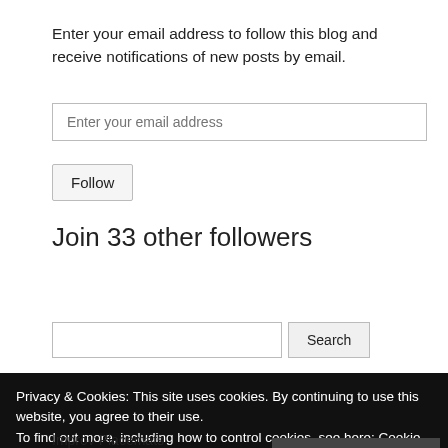Enter your email address to follow this blog and receive notifications of new posts by email.
[Figure (other): Email address input field with placeholder text 'Enter your email address']
[Figure (other): Follow button]
Join 33 other followers
[Figure (other): Search input field and Search button]
Privacy & Cookies: This site uses cookies. By continuing to use this website, you agree to their use.
To find out more, including how to control cookies, see here: Cookie Policy
Close and accept
Improv Placemats